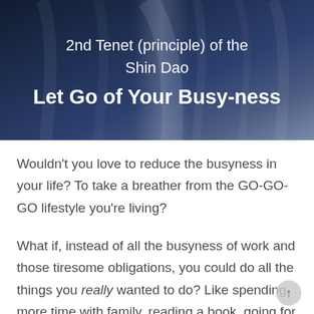[Figure (photo): Dark blue draped fabric background with white text overlay showing '2nd Tenet (principle) of the Shin Dao' and 'Let Go of Your Busy-ness']
Wouldn't you love to reduce the busyness in your life? To take a breather from the GO-GO-GO lifestyle you're living?
What if, instead of all the busyness of work and those tiresome obligations, you could do all the things you really wanted to do? Like spending more time with family, reading a book, going for a run, having long conversations with your best friends,